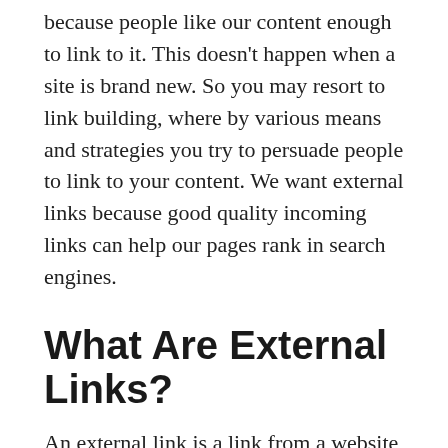because people like our content enough to link to it. This doesn't happen when a site is brand new. So you may resort to link building, where by various means and strategies you try to persuade people to link to your content. We want external links because good quality incoming links can help our pages rank in search engines.
What Are External Links?
An external link is a link from a website to another separate website, (hopefully yours). Normally, you do not control these. You can beg or buy these links, or you can hope to earn them naturally